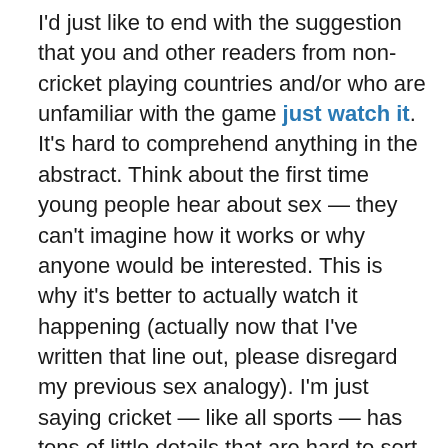I'd just like to end with the suggestion that you and other readers from non-cricket playing countries and/or who are unfamiliar with the game just watch it. It's hard to comprehend anything in the abstract. Think about the first time young people hear about sex — they can't imagine how it works or why anyone would be interested. This is why it's better to actually watch it happening (actually now that I've written that line out, please disregard my previous sex analogy). I'm just saying cricket — like all sports — has tons of little details that are hard to sort out just on paper. In fact, despite my own understanding of cricket, when I read back all I've just posted, I think, what the fuck are you talking about? So read but then watch and it'll all fall into place.
Who knows? Maybe once that happens, you'll fancy playing it yourself. Just don't play for Australia or I will